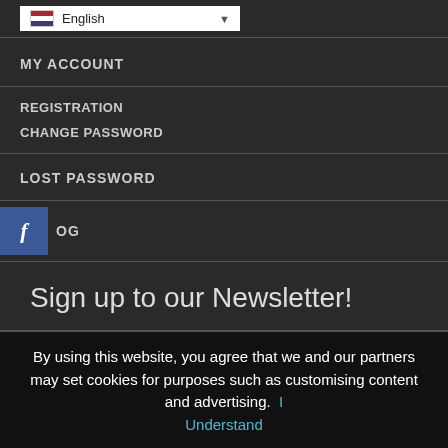[Figure (screenshot): Language selector dropdown showing English with US flag icon]
MY ACCOUNT
REGISTRATION
CHANGE PASSWORD
LOST PASSWORD
OG (with Facebook icon)
Sign up to our Newsletter!
By using this website, you agree that we and our partners may set cookies for purposes such as customising content and advertising.  I Understand